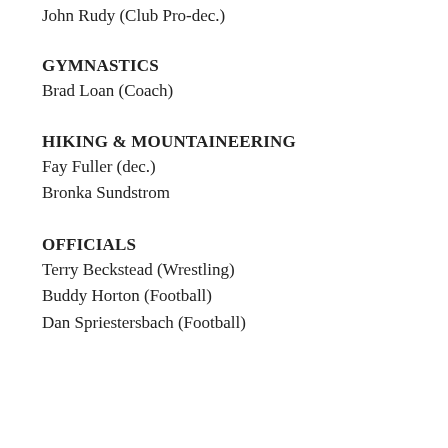John Rudy (Club Pro-dec.)
GYMNASTICS
Brad Loan (Coach)
HIKING & MOUNTAINEERING
Fay Fuller (dec.)
Bronka Sundstrom
OFFICIALS
Terry Beckstead (Wrestling)
Buddy Horton (Football)
Dan Spriestersbach (Football)